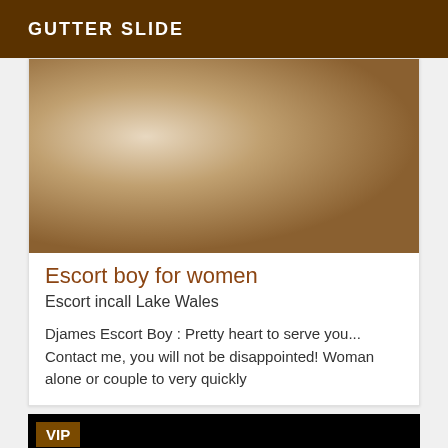GUTTER SLIDE
[Figure (photo): Photo of a person lying down, torso visible, low lighting]
Escort boy for women
Escort incall Lake Wales
Djames Escort Boy : Pretty heart to serve you... Contact me, you will not be disappointed! Woman alone or couple to very quickly
[Figure (photo): Dark/black image with VIP badge overlay]